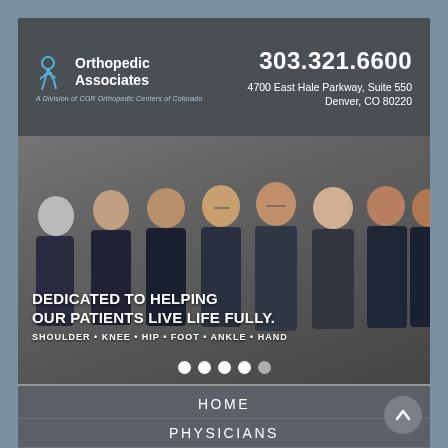[Figure (logo): Orthopedic Associates logo with figure icon and tagline 'A Division of COR Orthopedic Centers of Colorado']
303.321.6600
4700 East Hale Parkway, Suite 550
Denver, CO 80220
[Figure (photo): Group photo of eight male physicians in business suits standing together. Text overlay: 'DEDICATED TO HELPING OUR PATIENTS LIVE FULLY.' and 'SHOULDER • KNEE • HIP • FOOT • ANKLE • HAND' with five white dot carousel indicators]
HOME
PHYSICIANS
INFORMATION